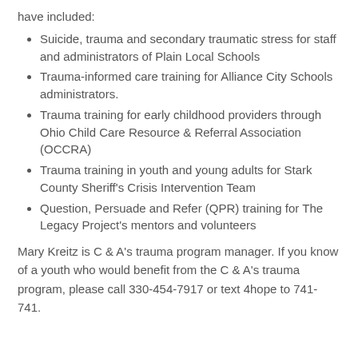have included:
Suicide, trauma and secondary traumatic stress for staff and administrators of Plain Local Schools
Trauma-informed care training for Alliance City Schools administrators.
Trauma training for early childhood providers through Ohio Child Care Resource & Referral Association (OCCRA)
Trauma training in youth and young adults for Stark County Sheriff's Crisis Intervention Team
Question, Persuade and Refer (QPR) training for The Legacy Project's mentors and volunteers
Mary Kreitz is C & A's trauma program manager. If you know of a youth who would benefit from the C & A's trauma program, please call 330-454-7917 or text 4hope to 741-741.